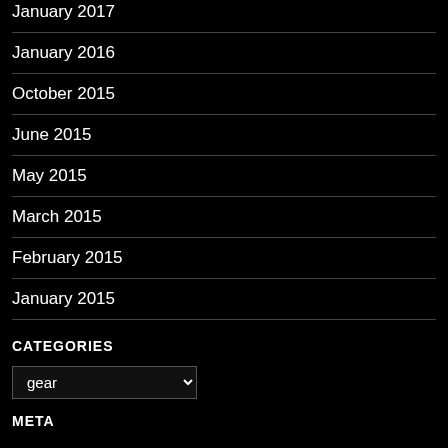January 2017
January 2016
October 2015
June 2015
May 2015
March 2015
February 2015
January 2015
CATEGORIES
gear (dropdown)
META